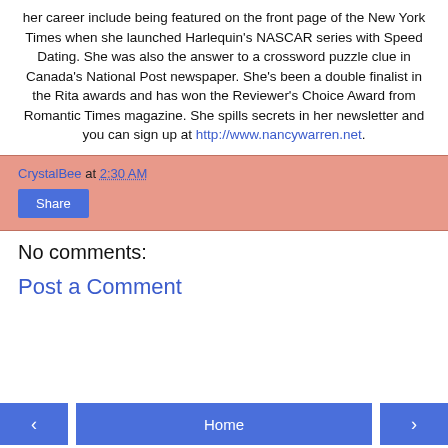her career include being featured on the front page of the New York Times when she launched Harlequin's NASCAR series with Speed Dating. She was also the answer to a crossword puzzle clue in Canada's National Post newspaper. She's been a double finalist in the Rita awards and has won the Reviewer's Choice Award from Romantic Times magazine. She spills secrets in her newsletter and you can sign up at http://www.nancywarren.net.
CrystalBee at 2:30 AM
Share
No comments:
Post a Comment
< Home >